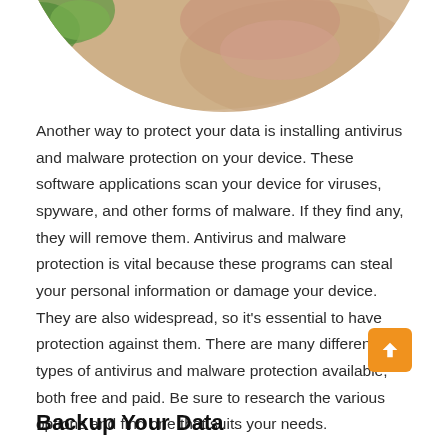[Figure (photo): Circular cropped photo showing hands on a wooden surface with a green plant visible at the edge, partially visible at the top of the page]
Another way to protect your data is installing antivirus and malware protection on your device. These software applications scan your device for viruses, spyware, and other forms of malware. If they find any, they will remove them. Antivirus and malware protection is vital because these programs can steal your personal information or damage your device. They are also widespread, so it's essential to have protection against them. There are many different types of antivirus and malware protection available, both free and paid. Be sure to research the various options and find one that suits your needs.
Backup Your Data